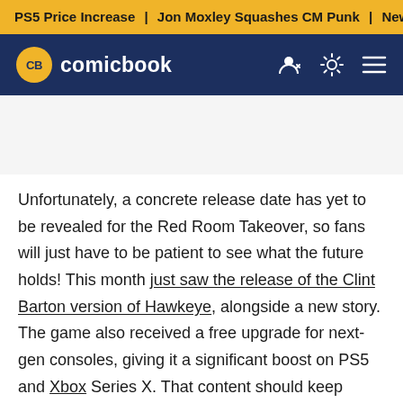PS5 Price Increase | Jon Moxley Squashes CM Punk | New G
[Figure (logo): ComicBook.com logo with yellow CB badge and white brand name on dark navy navigation bar]
Unfortunately, a concrete release date has yet to be revealed for the Red Room Takeover, so fans will just have to be patient to see what the future holds! This month just saw the release of the Clint Barton version of Hawkeye, alongside a new story. The game also received a free upgrade for next-gen consoles, giving it a significant boost on PS5 and Xbox Series X. That content should keep players busy for a bit, but the future definitely looks bright